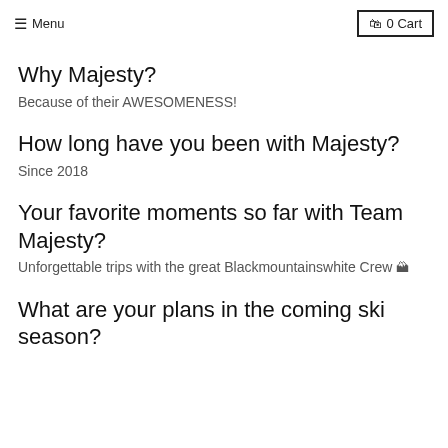≡ Menu   🛒 0 Cart
Why Majesty?
Because of their AWESOMENESS!
How long have you been with Majesty?
Since 2018
Your favorite moments so far with Team Majesty?
Unforgettable trips with the great Blackmountainswhite Crew 🏔
What are your plans in the coming ski season?